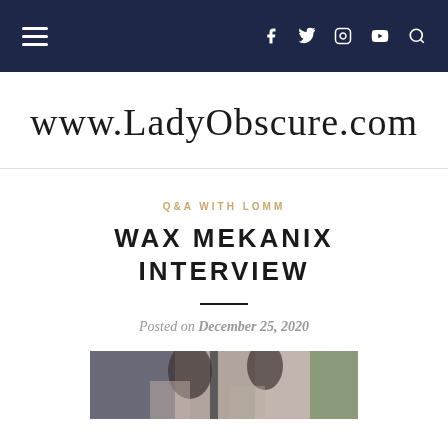Navigation bar with hamburger menu and social icons (f, Twitter, Instagram, YouTube, search)
www.LadyObscure.com
Q&A WITH LOMM
WAX MEKANIX INTERVIEW
Posted on December 25, 2020
[Figure (photo): Partial photo showing two people outdoors near a brick wall, cropped at bottom of page]